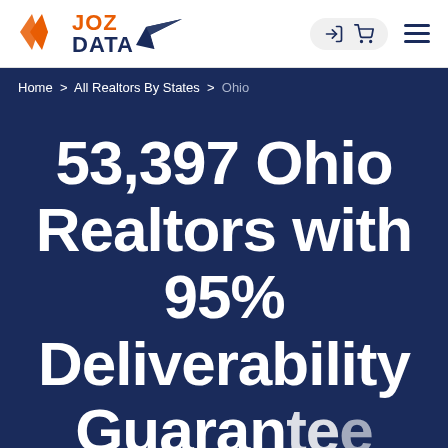[Figure (logo): JOZ DATA logo with orange diamond icon and paper plane graphic]
Home > All Realtors By States > Ohio
53,397 Ohio Realtors with 95% Deliverability Guarantee